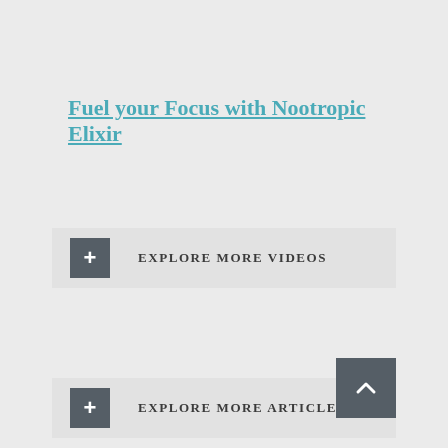Fuel your Focus with Nootropic Elixir
+ EXPLORE MORE VIDEOS
+ EXPLORE MORE ARTICLES